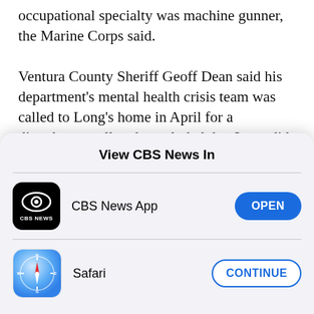occupational specialty was machine gunner, the Marine Corps said.

Ventura County Sheriff Geoff Dean said his department's mental health crisis team was called to Long's home in April for a disturbance call and concluded that Long did not need to be taken into custody under a "5150" order, an evaluation that determines whether a person needs to be involuntarily held for up to 72 hours because they
View CBS News In
[Figure (screenshot): CBS News App row with black CBS News icon and OPEN button]
[Figure (screenshot): Safari row with Safari compass icon and CONTINUE button]